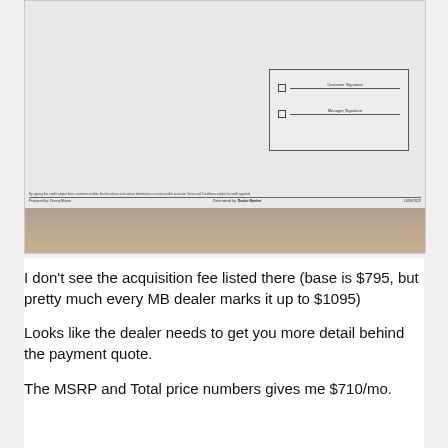[Figure (photo): Photo of a car dealer lease/finance document showing the bottom portion with signature lines for Customer Signature and Manager Signature in a box, and footer text including prepared by, determined by Dealer Banker, and date 11/09/2020]
I don't see the acquisition fee listed there (base is $795, but pretty much every MB dealer marks it up to $1095)
Looks like the dealer needs to get you more detail behind the payment quote.
The MSRP and Total price numbers gives me $710/mo.